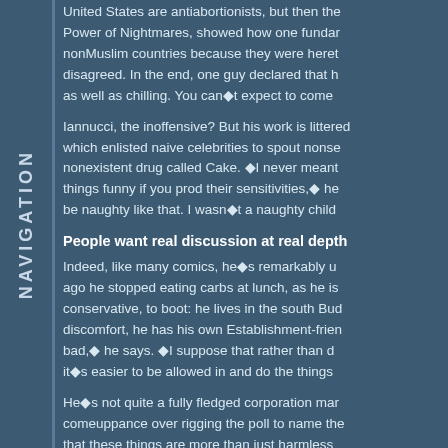NAVIGATION
United States are antiabortionists, but then the Power of Nightmares, showed how one fundar nonMuslim countries because they were heret disagreed. In the end, one guy declared that h as well as chilling. You can◆t expect to come
Iannucci, the inoffensive? But his work is littered which enlisted naive celebrities to spout nonse nonexistent drug called Cake. ◆I never meant things funny if you prod their sensitivities,◆ he be naughty like that. I wasn◆t a naughty child
People want real discussion at real depth
Indeed, like many comics, he◆s remarkably u ago he stopped eating carbs at lunch, as he is conservative, to boot: he lives in the south Bud discomfort, he has his own Establishment-frier bad,◆ he says. ◆I suppose that rather than d it◆s easier to be allowed in and do the things
He◆s not quite a fully fledged corporation mar comeuppance over rigging the poll to name the that these things are more than just harmless unreality TV, soundbite politics and celebrity b